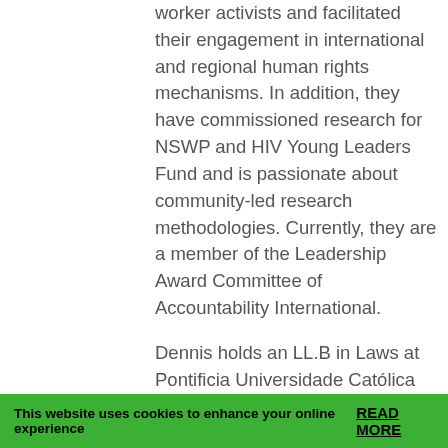worker activists and facilitated their engagement in international and regional human rights mechanisms. In addition, they have commissioned research for NSWP and HIV Young Leaders Fund and is passionate about community-led research methodologies. Currently, they are a member of the Leadership Award Committee of Accountability International.
Dennis holds an LL.B in Laws at Pontificia Universidade Católica de São Paulo (Brazil), an LL.M in International Human Rights Law at Tilburg University (Netherlands), and a specialisation in
This website uses cookies to enhance your online experience READ MORE